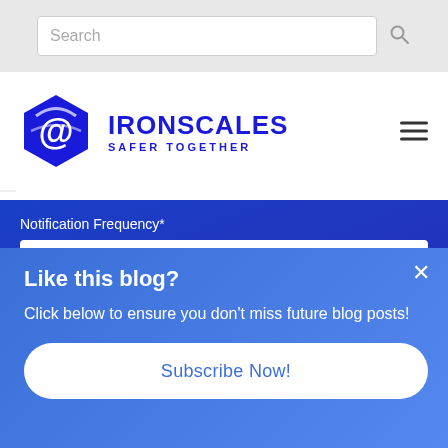[Figure (screenshot): Search bar with placeholder text 'Search' and a magnifying glass icon on a light grey background]
[Figure (logo): IRONSCALES logo — blue hexagon with @ symbol, company name IRONSCALES and tagline SAFER TOGETHER in blue text]
Notification Frequency*
Please Select
IRONSCALES is requesting your contact information to notify you about our products and services. You may adjust your
Like this blog?
Click below to ensure you don't miss future blog posts!
Subscribe Now!